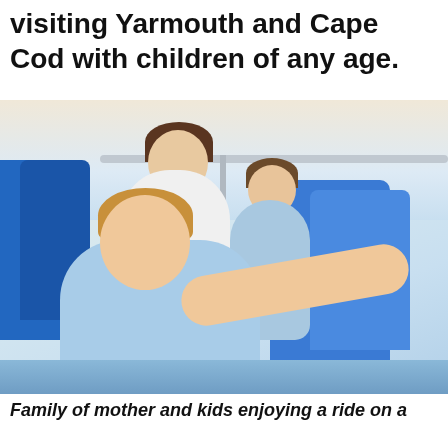visiting Yarmouth and Cape Cod with children of any age.
[Figure (photo): Family of mother and kids enjoying a ride on a boat. A young blond child in the foreground reaches out with arms extended, eyes closed and smiling. A woman in white sits behind, with another child beside her. Blue boat seats are visible with water and sky in the background.]
Family of mother and kids enjoying a ride on a